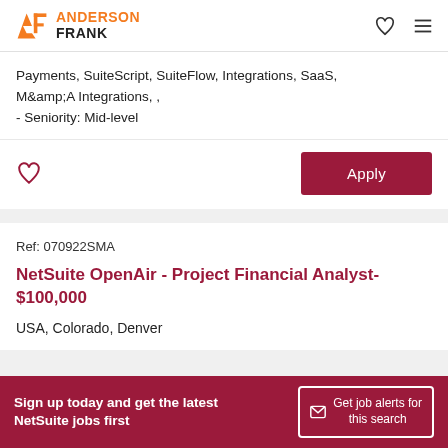Anderson Frank
Payments, SuiteScript, SuiteFlow, Integrations, SaaS, M&A Integrations, ,
- Seniority: Mid-level
Ref: 070922SMA
NetSuite OpenAir - Project Financial Analyst- $100,000
USA, Colorado, Denver
Sign up today and get the latest NetSuite jobs first | Get job alerts for this search